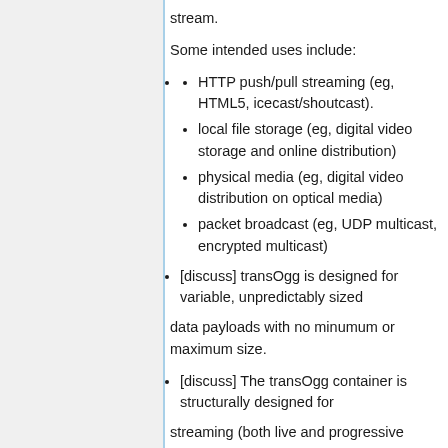stream.
Some intended uses include:
HTTP push/pull streaming (eg, HTML5, icecast/shoutcast).
local file storage (eg, digital video storage and online distribution)
physical media (eg, digital video distribution on optical media)
packet broadcast (eg, UDP multicast, encrypted multicast)
[discuss] transOgg is designed for variable, unpredictably sized
data payloads with no minumum or maximum size.
[discuss] The transOgg container is structurally designed for
streaming (both live and progressive download). It is not possible to construct